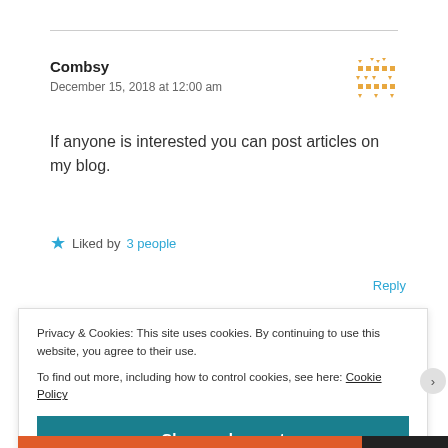Combsy
December 15, 2018 at 12:00 am
[Figure (illustration): Orange pixel-art style avatar icon with triangles and squares arranged in a grid pattern]
If anyone is interested you can post articles on my blog.
★ Liked by 3 people
Reply
Privacy & Cookies: This site uses cookies. By continuing to use this website, you agree to their use.
To find out more, including how to control cookies, see here: Cookie Policy
Close and accept